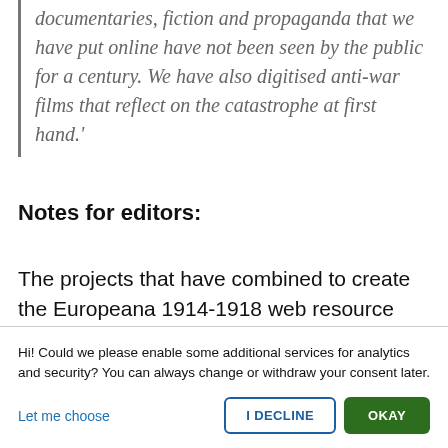documentaries, fiction and propaganda that we have put online have not been seen by the public for a century. We have also digitised anti-war films that reflect on the catastrophe at first hand.'
Notes for editors:
The projects that have combined to create the Europeana 1914-1918 web resource are:
Hi! Could we please enable some additional services for analytics and security? You can always change or withdraw your consent later.